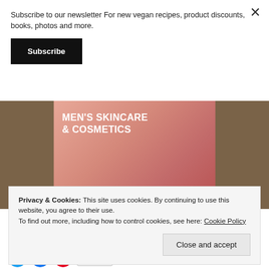Subscribe to our newsletter For new vegan recipes, product discounts, books, photos and more.
Subscribe
[Figure (photo): Book cover titled MEN'S SKINCARE & COSMETICS shown against a wooden background, showing a man's face close-up]
Privacy & Cookies: This site uses cookies. By continuing to use this website, you agree to their use.
To find out more, including how to control cookies, see here: Cookie Policy
Close and accept